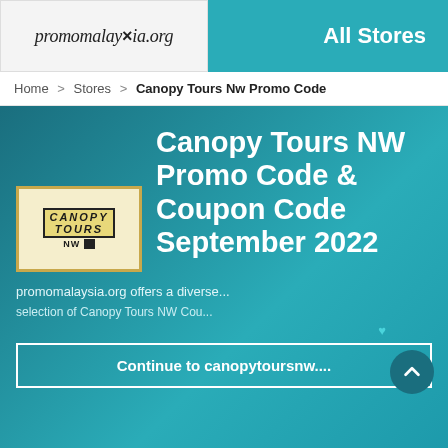promomalaysia.org | All Stores
Home > Stores > Canopy Tours Nw Promo Code
Canopy Tours NW Promo Code & Coupon Code September 2022
promomalaysia.org offers a diverse... selection of Canopy Tours NW Cou...
Continue to canopytoursnw....
ALL   PROMO CODE   DEAL